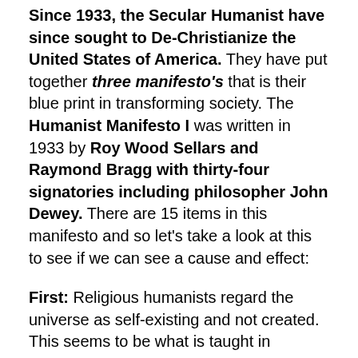Since 1933, the Secular Humanist have since sought to De-Christianize the United States of America. They have put together three manifesto's that is their blue print in transforming society. The Humanist Manifesto I was written in 1933 by Roy Wood Sellars and Raymond Bragg with thirty-four signatories including philosopher John Dewey. There are 15 items in this manifesto and so let's take a look at this to see if we can see a cause and effect:
First: Religious humanists regard the universe as self-existing and not created.
This seems to be what is taught in